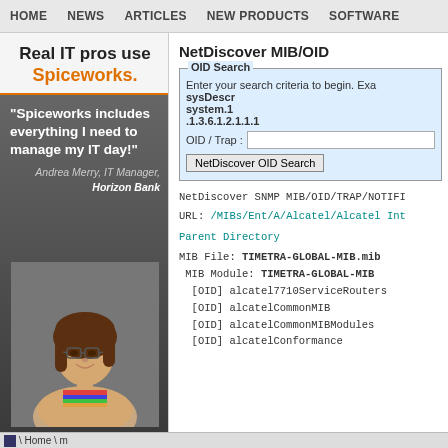HOME  NEWS  ARTICLES  NEW PRODUCTS  SOFTWARE
[Figure (photo): Spiceworks advertisement featuring a woman IT manager. Text: 'Real IT pros use Spiceworks.' Quote: 'Spiceworks includes everything I need to manage my IT day!' - Andrea Merry, IT Manager, Horizon Bank]
NetDiscover MIB/OID
OID Search - Enter your search criteria to begin. Examples: sysDescr, system.1, .1.3.6.1.2.1.1.1
OID / Trap : [input field] NetDiscover OID Search [button]
NetDiscover SNMP MIB/OID/TRAP/NOTIFI
URL: /MIBs/Ent/A/Alcatel/Alcatel Int
Parent Directory
MIB File: TIMETRA-GLOBAL-MIB.mib
 MIB Module: TIMETRA-GLOBAL-MIB
  [OID] alcatel7710ServiceRouters
  [OID] alcatelCommonMIB
  [OID] alcatelCommonMIBModules
  [OID] alcatelConformance
Home \ m